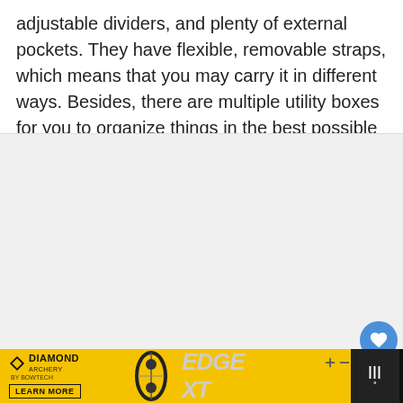adjustable dividers, and plenty of external pockets. They have flexible, removable straps, which means that you may carry it in different ways. Besides, there are multiple utility boxes for you to organize things in the best possible manner. The bigger ones can accommodate as many as eight utility boxes.
[Figure (photo): A large light gray image placeholder area with interactive buttons on the right side: a blue circular heart/like button, a count showing '1', and a white circular share button with a share icon.]
[Figure (screenshot): Advertisement banner for Diamond Archery EDGE XT product. Dark background with yellow/gold ad content showing Diamond Archery logo, a bow image, EDGE XT text in gray, and a LEARN MORE button. Dismiss/close icon in top right of ad area.]